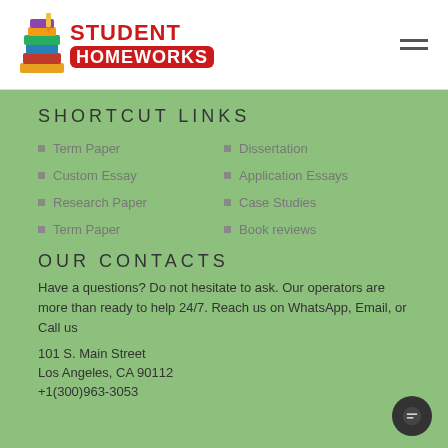STUDENT HOMEWORKS
SHORTCUT LINKS
Term Paper
Dissertation
Custom Essay
Application Essays
Research Paper
Case Studies
Term Paper
Book reviews
OUR CONTACTS
Have a questions? Do not hesitate to ask. Our operators are more than ready to help 24/7. Reach us on WhatsApp, Email, or Call us
101 S. Main Street
Los Angeles, CA 90112
+1(300)963-3053